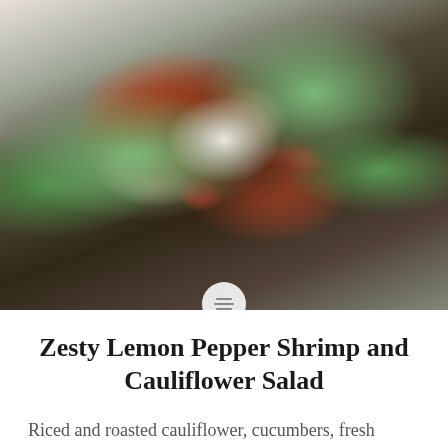[Figure (photo): A white bowl filled with a shrimp and cauliflower salad, containing riced dark cauliflower, shrimp, fresh tomatoes, cucumber, spinach and mixed greens, topped with a burrata or mozzarella garnished with fresh dill. A silver fork is visible on the right side.]
Zesty Lemon Pepper Shrimp and Cauliflower Salad
Riced and roasted cauliflower, cucumbers, fresh tomatoes, finely diced red onions, and lemon zest. Tossed together with chicken broth, and topped lemon pepper grilled shrimp